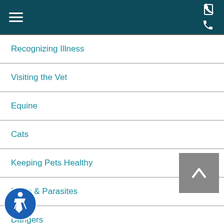Navigation menu header with hamburger icon and phone icon
Recognizing Illness
Visiting the Vet
Equine
Cats
Keeping Pets Healthy
Fleas & Parasites
Dangers